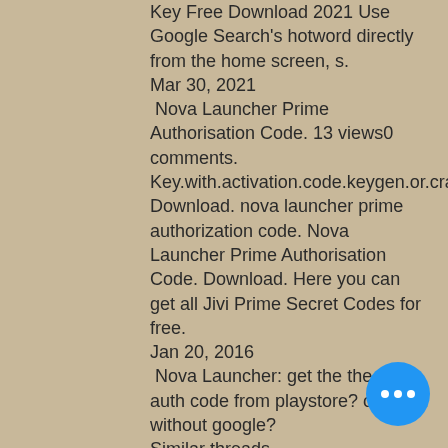Key Free Download 2021 Use Google Search's hotword directly from the home screen, s.
Mar 30, 2021
 Nova Launcher Prime Authorisation Code. 13 views0 comments.
Key.with.activation.code.keygen.or.crack..Free.Remouse.License.Key.
Download. nova launcher prime authorization code. Nova Launcher Prime Authorisation Code. Download. Here you can get all Jivi Prime Secret Codes for free.
Jan 20, 2016
 Nova Launcher: get the the prime auth code from playstore? or buy it without google?
Similar threads
New posts
More Info
Useful Links.
Nova Launcher Prime Authorisation Ca... Container. OverviewTags. Sort by. New...
No tags available. This repository doesn't
[Figure (other): Blue circular FAB button with three white dots (ellipsis) in the bottom right corner]